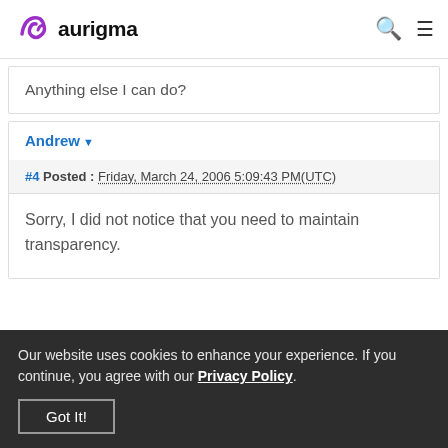aurigma
Anything else I can do?
Andrew
#4 Posted : Friday, March 24, 2006 5:09:43 PM(UTC)
Sorry, I did not notice that you need to maintain transparency.
Our website uses cookies to enhance your experience. If you continue, you agree with our Privacy Policy.